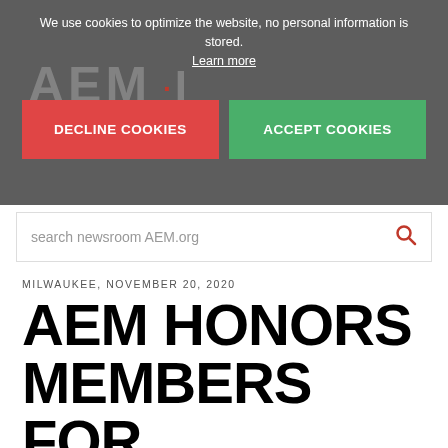We use cookies to optimize the website, no personal information is stored. Learn more
[Figure (screenshot): Cookie consent overlay with AEM (Association of Equipment Manufacturers) logo behind a semi-transparent dark overlay, showing DECLINE COOKIES (red) and ACCEPT COOKIES (green) buttons]
search newsroom AEM.org
MILWAUKEE, NOVEMBER 20, 2020
AEM HONORS MEMBERS FOR MEMBERSHIP